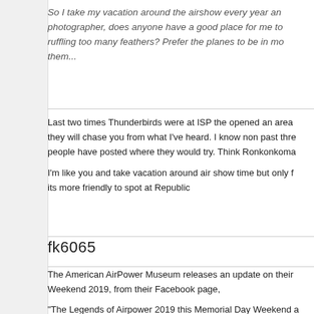So I take my vacation around the airshow every year and photographer, does anyone have a good place for me to ruffling too many feathers? Prefer the planes to be in mo them...
Last two times Thunderbirds were at ISP the opened an area they will chase you from what I've heard. I know non past thre people have posted where they would try. Think Ronkonkoma
I'm like you and take vacation around air show time but only f its more friendly to spot at Republic
fk6065
The American AirPower Museum releases an update on their Weekend 2019, from their Facebook page,
"The Legends of Airpower 2019 this Memorial Day Weekend a Museum at Republic Airport in Farmingdale, NY. Join us as we of D-Day this Memorial Day Weekend. Come take a flight in W Flying Fortress and one of the only two seat TP-40N Warha aircraft collection, along with visiting Warbirds like the FG-1D ultra rare Mitsubishi Zero!"